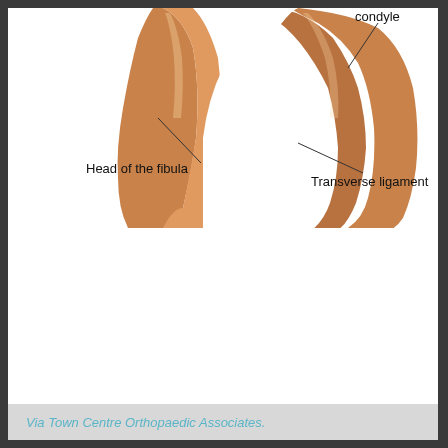[Figure (illustration): Anatomical illustration of the knee joint (partial, top portion), showing the head of the fibula on the left and the condyle and transverse ligament on the right, with annotation lines pointing to each structure. The bones/tissue are rendered in orange-brown tones against a white background.]
Via Town Centre Orthopaedic Associates.